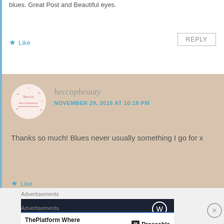blues. Great Post and Beautiful eyes.
★ Like
REPLY
beccapbeauty
NOVEMBER 29, 2018 AT 10:18 PM
Thanks so much! Blues never usually something I go for x
★ Like
Advertisements
[Figure (logo): Dark advertisement banner with WordPress logo icon]
Advertisements
[Figure (infographic): Pressable advertisement: ThePlatform Where WordPress Works Best]
⊗ close button